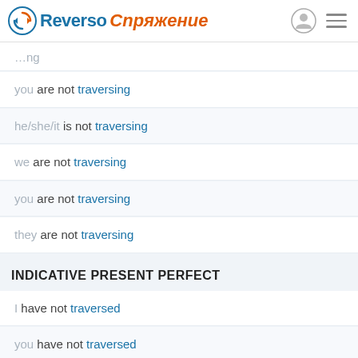Reverso Спряжение
you are not traversing
he/she/it is not traversing
we are not traversing
you are not traversing
they are not traversing
INDICATIVE PRESENT PERFECT
I have not traversed
you have not traversed
he/she/it has not traversed